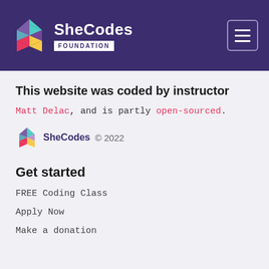SheCodes FOUNDATION
This website was coded by instructor
Matt Delac, and is partly open-sourced.
[Figure (logo): SheCodes logo with colorful diamond shapes and text SheCodes © 2022]
Get started
FREE Coding Class
Apply Now
Make a donation